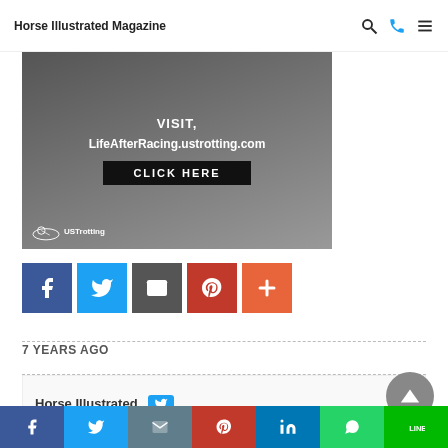Horse Illustrated Magazine
[Figure (screenshot): Advertisement banner for LifeAfterRacing.ustrotting.com with text VISIT, LifeAfterRacing.ustrotting.com and a CLICK HERE button. USTrotting logo at bottom left.]
[Figure (infographic): Social share buttons row: Facebook (blue), Twitter (light blue), Email/share (dark gray), Pinterest (red), More/Plus (orange-red)]
7 YEARS AGO
[Figure (screenshot): Related content card showing Horse Illustrated text with a Twitter bird icon button]
[Figure (infographic): Bottom social sharing bar with icons for Facebook, Twitter, Email, Pinterest, LinkedIn, WhatsApp, Line]